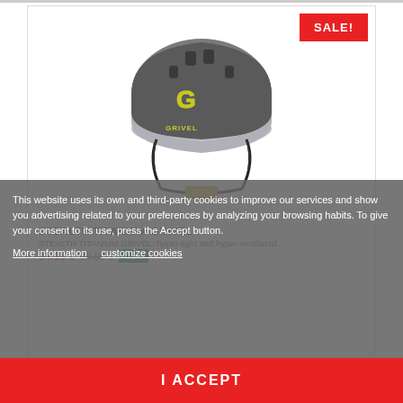[Figure (photo): Grivel Stealth Titanium climbing helmet, grey with yellow logo and accents, shown with chin strap]
[Figure (other): Red SALE! badge in top-right corner of product card]
STEALTH TITANIUM GRIVEL
STEALTH TITANIUM GRIVEL: hyper-light and hyper-ventilated.
84.15 € 99.00 € -15%
This website uses its own and third-party cookies to improve our services and show you advertising related to your preferences by analyzing your browsing habits. To give your consent to its use, press the Accept button.
More information  customize cookies
I ACCEPT
Out of stock